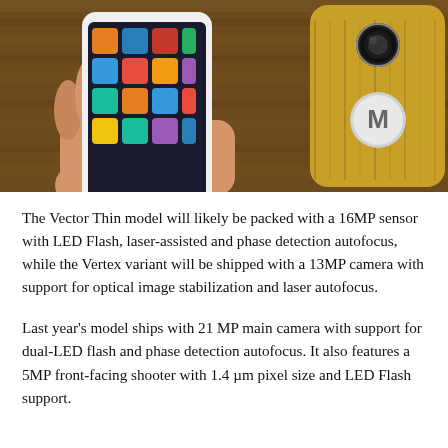[Figure (photo): A hand holding a white Motorola smartphone showing colorful app tiles on the screen, next to a wood-backed Motorola device showing the Motorola logo on its back cover.]
The Vector Thin model will likely be packed with a 16MP sensor with LED Flash, laser-assisted and phase detection autofocus, while the Vertex variant will be shipped with a 13MP camera with support for optical image stabilization and laser autofocus.
Last year's model ships with 21 MP main camera with support for dual-LED flash and phase detection autofocus. It also features a 5MP front-facing shooter with 1.4 µm pixel size and LED Flash support.